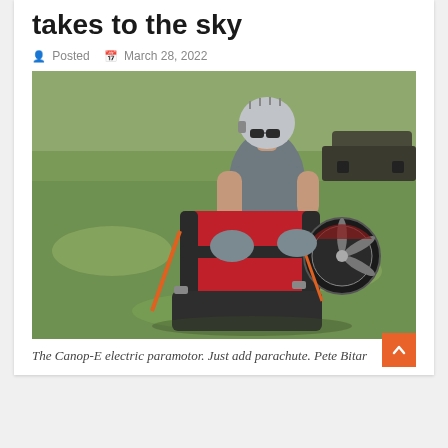takes to the sky
Posted   March 28, 2022
[Figure (photo): A person wearing a helmet and goggles kneeling on a grassy field, adjusting equipment on a red and black paramotor harness with a propeller unit. A vehicle is visible in the background.]
The Canop-E electric paramotor. Just add parachute.  Pete Bitar